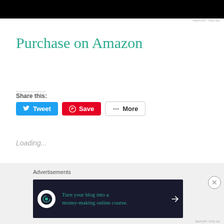[Figure (other): Black advertisement banner at top of page]
REPORT THIS AD
Purchase on Amazon
Share this:
[Figure (other): Social sharing buttons: Tweet, Save, More]
Loading...
Advertisements
[Figure (other): Advertisement banner: Turn your blog into a money-making online course. with arrow button]